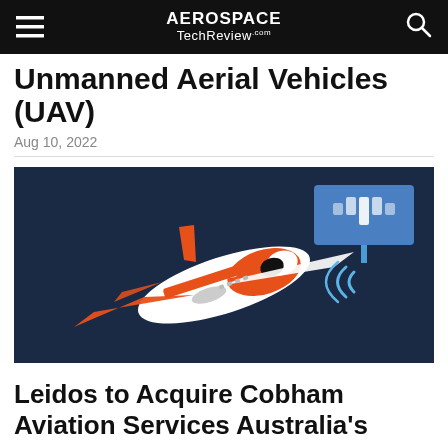AEROSPACE TechReview.com
Unmanned Aerial Vehicles (UAV)
Aug 10, 2022
[Figure (photo): Orange and white UAV aircraft flying against a dark navy background, with a blue wireless transmission icon overlay in the upper right corner]
Leidos to Acquire Cobham Aviation Services Australia's